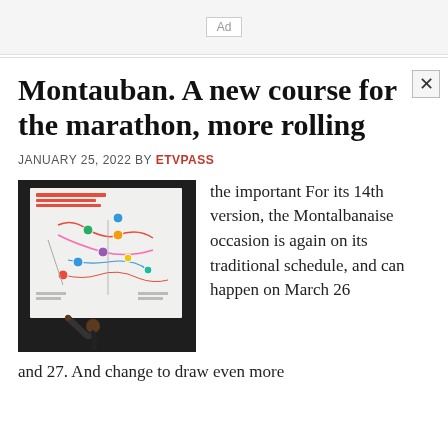Ad
Montauban. A new course for the marathon, more rolling
JANUARY 25, 2022 BY ETVPASS
[Figure (photo): A person pointing at a map/course diagram labeled 'LE TRACÉ DU SEMI, MARATHON ET MARATHON RELAIS' showing the marathon route]
the important For its 14th version, the Montalbanaise occasion is again on its traditional schedule, and can happen on March 26 and 27. And change to draw even more